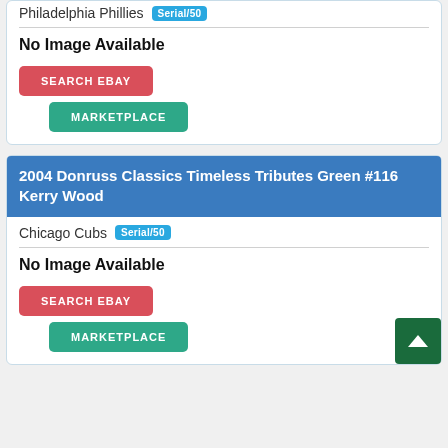Philadelphia Phillies Serial/50
No Image Available
SEARCH EBAY
MARKETPLACE
2004 Donruss Classics Timeless Tributes Green #116 Kerry Wood
Chicago Cubs Serial/50
No Image Available
SEARCH EBAY
MARKETPLACE